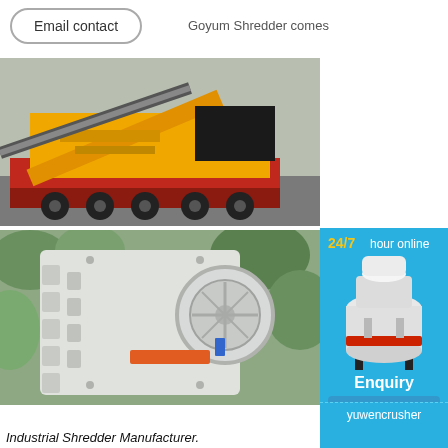Email contact
Goyum Shredder comes
[Figure (photo): Yellow mobile crushing/screening plant loaded on a red heavy transport truck, photographed outdoors.]
[Figure (photo): Close-up of a white industrial jaw crusher machine with circular flywheel, set against a background of green rocks.]
[Figure (photo): Side advertisement panel: blue background with '24/7 hour online' text, white cone crusher machine image, and 'Click me to chat>>' button.]
24/7 hour online
Click me to chat>>
Enquiry
yuwencrusher
Industrial Shredder Manufacturer.